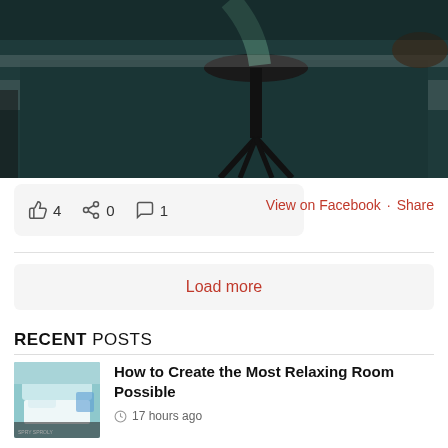[Figure (photo): Dark teal kitchen scene with a black bar stool against a dark green kitchen island countertop]
4  0  1
View on Facebook · Share
Load more
RECENT POSTS
[Figure (photo): Thumbnail of a relaxing bedroom with blue accents and white bedding]
How to Create the Most Relaxing Room Possible
17 hours ago